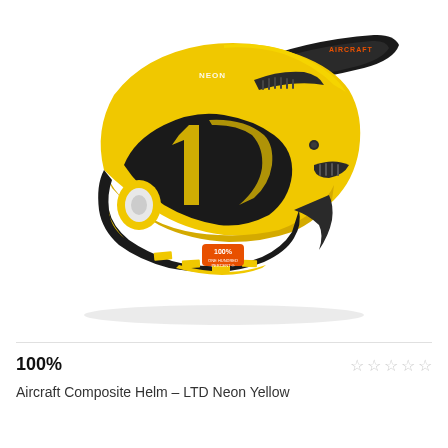[Figure (photo): A 100% Aircraft Composite full-face helmet in Neon Yellow and black colorway, viewed from the left side. The helmet features a large visor, black chin guard, yellow and black graphics, and the 100% brand logo on the chin area.]
100%
Aircraft Composite Helm - LTD Neon Yellow